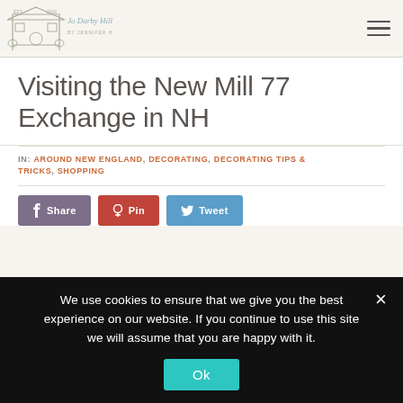Jo Darby Hill - blog logo and hamburger menu
Visiting the New Mill 77 Exchange in NH
IN: AROUND NEW ENGLAND, DECORATING, DECORATING TIPS & TRICKS, SHOPPING
Share | Pin | Tweet
We use cookies to ensure that we give you the best experience on our website. If you continue to use this site we will assume that you are happy with it.